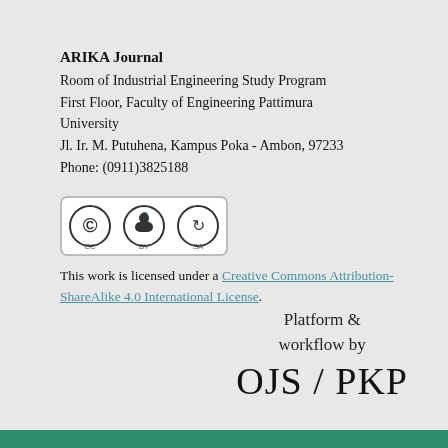ARIKA Journal
Room of Industrial Engineering Study Program
First Floor, Faculty of Engineering Pattimura University
Jl. Ir. M. Putuhena, Kampus Poka - Ambon, 97233
Phone: (0911)3825188
[Figure (logo): Creative Commons BY-SA license badge]
This work is licensed under a Creative Commons Attribution-ShareAlike 4.0 International License.
[Figure (logo): OJS/PKP Platform & workflow logo]